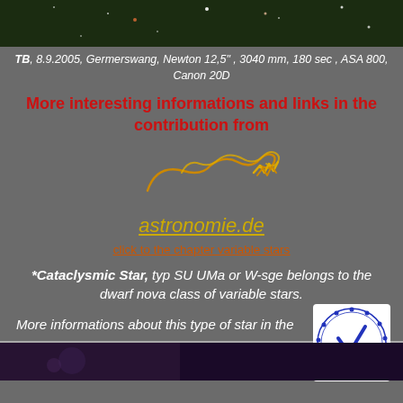[Figure (photo): Dark field astrophotography image showing stars on dark background]
TB, 8.9.2005, Germerswang, Newton 12,5" , 3040 mm, 180 sec , ASA 800, Canon 20D
More interesting informations and links in the contribution from
[Figure (logo): Astronomie.de stylized logo/signature in orange]
astronomie.de
click to the chapter variable stars
*Cataclysmic Star, typ SU UMa or W-sge belongs to the dwarf nova class of variable stars.
[Figure (logo): BAV circular stamp logo with dots around edge and BAV text]
More informations about this type of star in the
[Figure (photo): Dark astronomical/nebula photograph at bottom of page]